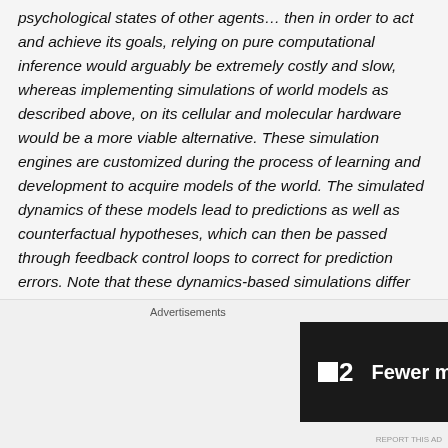psychological states of other agents… then in order to act and achieve its goals, relying on pure computational inference would arguably be extremely costly and slow, whereas implementing simulations of world models as described above, on its cellular and molecular hardware would be a more viable alternative. These simulation engines are customized during the process of learning and development to acquire models of the world. The simulated dynamics of these models lead to predictions as well as counterfactual hypotheses, which can then be passed through feedback control loops to correct for prediction errors. Note that these dynamics-based simulations differ from computer simulations. In the former,
[Figure (other): Advertisement banner: F2 logo with text 'Fewer meetings, more work.' on dark background]